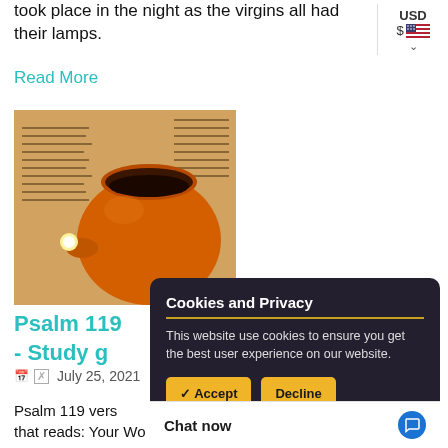took place in the night as the virgins all had their lamps.
Read More
[Figure (photo): An orange clay oil lamp resting on open Bible pages with Hebrew/Greek text]
Psalm 119 - Study g
July 25, 2021
Psalm 119 vers... that reads: Your Wo
USD $
Cookies and Privacy
This website use cookies to ensure you get the best user experience on our website.
✓ Accept
Decline
Chat now